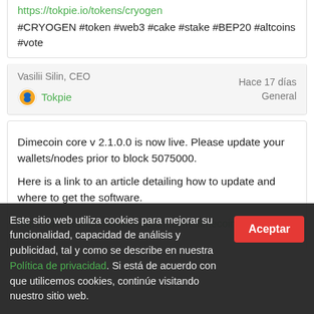https://tokpie.io/tokens/cryogen
#CRYOGEN #token #web3 #cake #stake #BEP20 #altcoins #vote
Vasilii Silin, CEO
Hace 17 días
Tokpie
General
Dimecoin core v 2.1.0.0 is now live. Please update your wallets/nodes prior to block 5075000.

Here is a link to an article detailing how to update and where to get the software.
https://dimecoinnetwork.medium.com/dimecoin-core-v2-1-0-
Este sitio web utiliza cookies para mejorar su funcionalidad, capacidad de análisis y publicidad, tal y como se describe en nuestra Política de privacidad. Si está de acuerdo con que utilicemos cookies, continúe visitando nuestro sitio web.
Aceptar